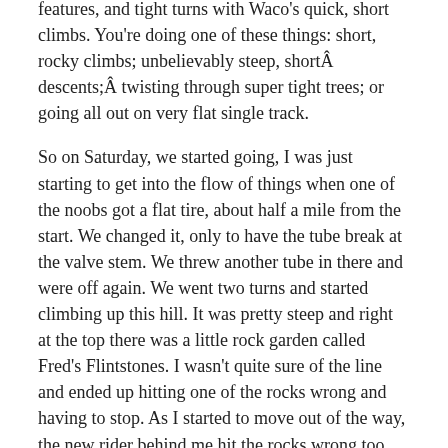features, and tight turns with Waco's quick, short climbs. You're doing one of these things: short, rocky climbs; unbelievably steep, short descents; twisting through super tight trees; or going all out on very flat single track.
So on Saturday, we started going, I was just starting to get into the flow of things when one of the noobs got a flat tire, about half a mile from the start. We changed it, only to have the tube break at the valve stem. We threw another tube in there and were off again. We went two turns and started climbing up this hill. It was pretty steep and right at the top there was a little rock garden called Fred's Flintstones. I wasn't quite sure of the line and ended up hitting one of the rocks wrong and having to stop. As I started to move out of the way, the new rider behind me hit the rocks wrong too and fell over. He couldn't unclip and his handlebars smashed into my rim into some rocks and bent it. After we all untangled, I looked at my wheel. It was bent!